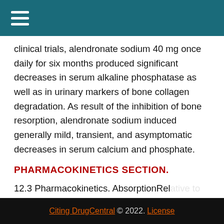≡ (hamburger menu icon)
clinical trials, alendronate sodium 40 mg once daily for six months produced significant decreases in serum alkaline phosphatase as well as in urinary markers of bone collagen degradation. As result of the inhibition of bone resorption, alendronate sodium induced generally mild, transient, and asymptomatic decreases in serum calcium and phosphate.
PHARMACOKINETICS SECTION.
12.3 Pharmacokinetics. AbsorptionRelative to an intravenous reference dose, the mean oral bioavailability of alendronate in women was 0.64% for doses ranging from to
[Figure (other): New Search button overlay with upward arrow icon on yellow-green background]
Citing DrugCentral © 2022. License